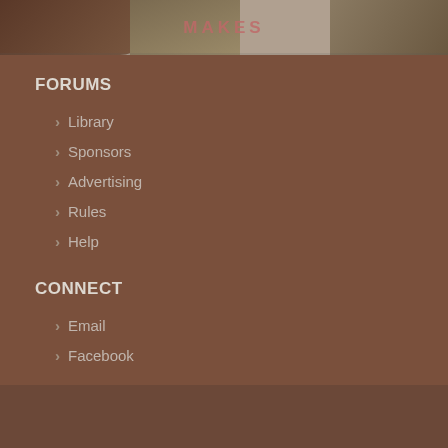[Figure (photo): Banner image showing teddy bears with text MAKES in center]
FORUMS
Library
Sponsors
Advertising
Rules
Help
CONNECT
Email
Facebook
Copyright © 2016 Teddy Talk. All Rights Reserved. Designed by NoMonkeyBiz.